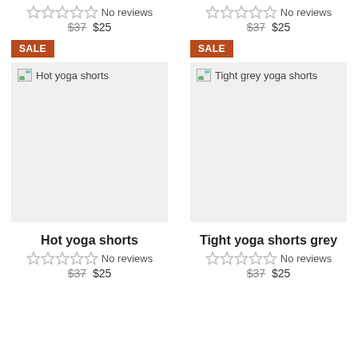No reviews ★☆☆☆☆ $37 $25 (top left, partially cut off)
No reviews ★☆☆☆☆ $37 $25 (top right, partially cut off)
SALE
SALE
[Figure (photo): Hot yoga shorts product image placeholder]
[Figure (photo): Tight grey yoga shorts product image placeholder]
Hot yoga shorts
No reviews
$37 $25
Tight yoga shorts grey
No reviews
$37 $25